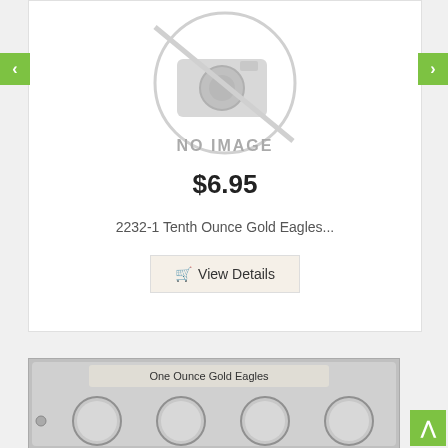[Figure (other): Product card with 'NO IMAGE' placeholder graphic, showing a camera icon with a slash through it inside a circle, with gray coloring]
$6.95
2232-1 Tenth Ounce Gold Eagles...
View Details
[Figure (photo): Bottom portion of a coin storage tray labeled 'One Ounce Gold Eagles' with 4 circular coin slots visible in a gray plastic holder]